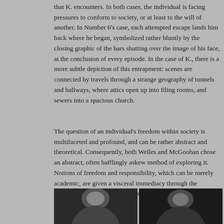that K. encounters. In both cases, the individual is facing pressures to conform to society, or at least to the will of another. In Number 6's case, each attempted escape lands him back where he began, symbolized rather bluntly by the closing graphic of the bars shutting over the image of his face, at the conclusion of every episode. In the case of K., there is a more subtle depiction of this entrapment: scenes are connected by travels through a strange geography of tunnels and hallways, where attics open up into filing rooms, and sewers into a spacious church.
The question of an individual's freedom within society is multifaceted and profound, and can be rather abstract and theoretical. Consequently, both Welles and McGoohan chose an abstract, often bafflingly askew method of exploring it. Notions of freedom and responsibility, which can be merely academic, are given a visceral immediacy through the nightmare imagery and wordplay in Welles and McGoohan's work.
[Figure (photo): Two black and white portrait photographs side by side, partially visible at the bottom of the page.]